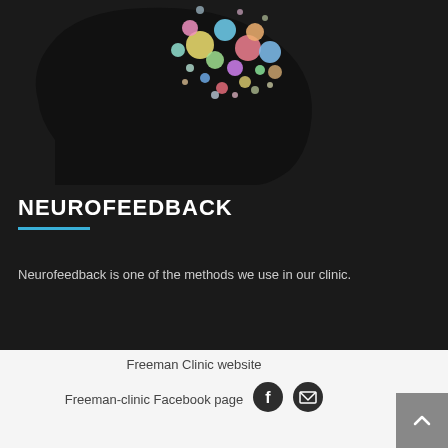[Figure (illustration): Dark silhouette of a human head profile facing right with colorful glowing circles/bubbles representing brain activity inside the head, on a dark background]
NEUROFEEDBACK
Neurofeedback is one of the methods we use in our clinic.
Freeman Clinic website
Freeman-clinic Facebook page
[Figure (infographic): Facebook icon circle and email/envelope icon circle]